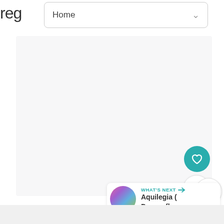reg
Home
[Figure (screenshot): Large light gray content area placeholder, nearly empty]
[Figure (illustration): Teal circular heart/favorite button]
1
[Figure (illustration): White circular share button with share icon]
[Figure (photo): Circular thumbnail of colorful flowers (Aquilegia Dragonfly)]
WHAT'S NEXT → Aquilegia ( Dragonfly...